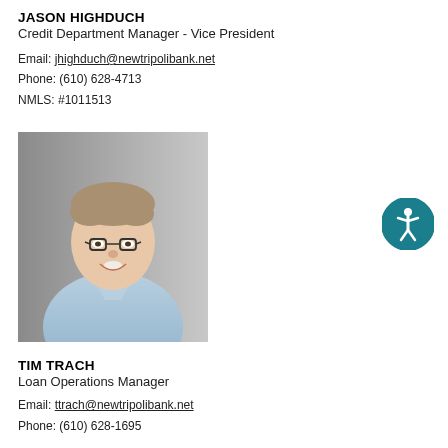JASON HIGHDUCH
Credit Department Manager - Vice President
Email: jhighduch@newtripolibank.net
Phone: (610) 628-4713
NMLS: #1011513
[Figure (photo): Professional headshot of Tim Trach, a man wearing glasses and a light blue collared shirt, smiling, against a grey background.]
TIM TRACH
Loan Operations Manager
Email: ttrach@newtripolibank.net
Phone: (610) 628-1695